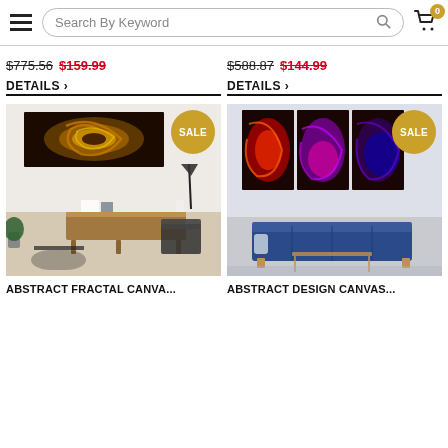Search By Keyword
$775.56  $159.99
$588.87  $144.99
DETAILS >
DETAILS >
[Figure (photo): Abstract fractal canvas wall art – golden spiral fractal displayed on wall above a wooden sideboard in a modern living room. SALE badge visible.]
[Figure (photo): Abstract design canvas wall art – red/purple swirling abstract triptych displayed on wall above a blue sofa. SALE badge visible.]
ABSTRACT FRACTAL CANVA...
ABSTRACT DESIGN CANVAS...